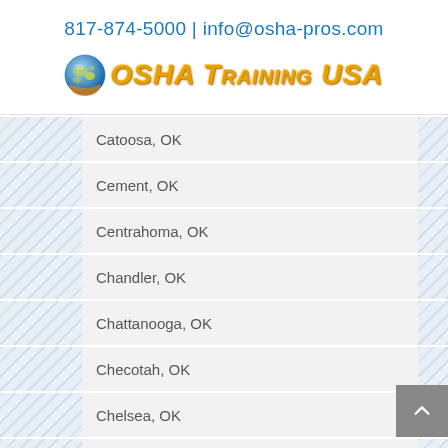817-874-5000 | info@osha-pros.com
[Figure (logo): OSHA Training USA logo with globe icon]
Catoosa, OK
Cement, OK
Centrahoma, OK
Chandler, OK
Chattanooga, OK
Checotah, OK
Chelsea, OK
Cherokee, OK